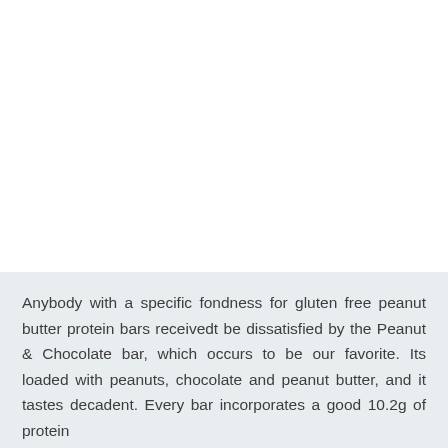Anybody with a specific fondness for gluten free peanut butter protein bars receivedt be dissatisfied by the Peanut & Chocolate bar, which occurs to be our favorite. Its loaded with peanuts, chocolate and peanut butter, and it tastes decadent. Every bar incorporates a good 10.2g of protein